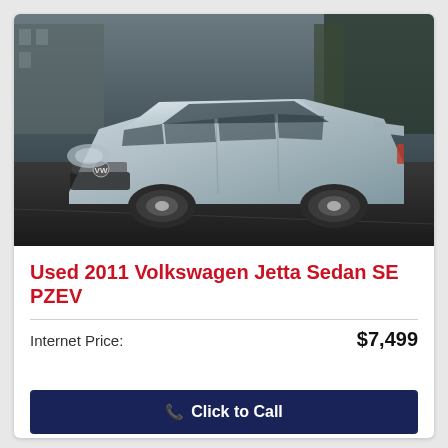[Figure (photo): Photo of a silver 2011 Volkswagen Jetta Sedan SE PZEV, shot from a front three-quarter angle in a parking lot.]
Used 2011 Volkswagen Jetta Sedan SE PZEV
Internet Price: $7,499
Click to Call